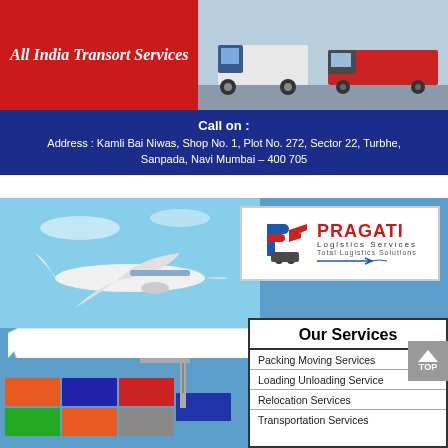[Figure (photo): Top banner with red box containing 'All India Transort Services' text on left and trucks/shipping containers on right, with blue banner at bottom showing address.]
All India Transort Services
Call on :
Address : Kamli Bai Niwas, Shop No. 1, Plot No. 272, Sector 22, Turbhe, Sanpada, Navi Mumbai – 400 705
[Figure (photo): Bottom section showing airplane flying over background, Pragati Logistics Services logo in top right, ribbon banner area, and shipping containers with crane at bottom left. Our Services box on right.]
PRAGATI Logistics Services Total Logistics Solutions
Our Services
Packing Moving Services
Loading Unloading Service
Relocation Services
Transportation Services